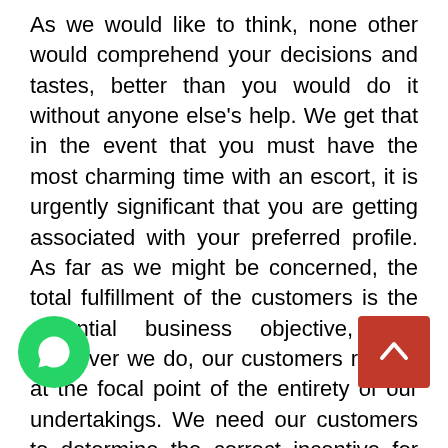As we would like to think, none other would comprehend your decisions and tastes, better than you would do it without anyone else's help. We get that in the event that you must have the most charming time with an escort, it is urgently significant that you are getting associated with your preferred profile. As far as we might be concerned, the total fulfillment of the customers is the essential business objective, and whatever we do, our customers remain at the focal point of the entirety of our undertakings. We need our customers to determine the correct incentive for the time and cash that they are putting resources into our administrations. Subsequently, we urge customers to check the profiles photographs of our young ladies, and book meeting with the Call Girls in Kuala Lumpur
[Figure (other): WhatsApp floating action button (green circle with WhatsApp phone icon)]
[Figure (other): Scroll-to-top floating button (red square with upward chevron arrow)]